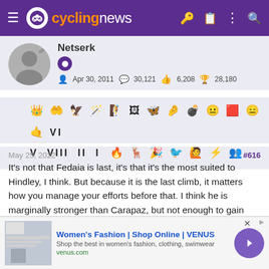cyclingnews
Netserk
Apr 30, 2011  30,121  6,208  28,180
[Figure (illustration): Row of achievement/badge icons (emoji-style symbols) for user Netserk]
May 25, 2022  #616
It's not that Fedaia is last, it's that it's the most suited to Hindley, I think. But because it is the last climb, it matters how you manage your efforts before that. I think he is marginally stronger than Carapaz, but not enough to gain time today. So it makes sense to distance Almeida while keeping as much in reserve as possible. And I have him ever so slightly favoured over Carapaz for pink in Verona.
[Figure (infographic): Advertisement banner: Women's Fashion | Shop Online | VENUS. venus.com]